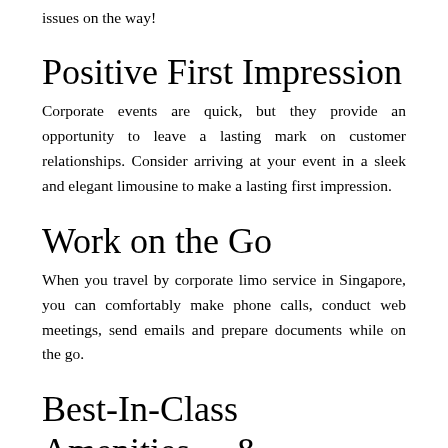issues on the way!
Positive First Impression
Corporate events are quick, but they provide an opportunity to leave a lasting mark on customer relationships. Consider arriving at your event in a sleek and elegant limousine to make a lasting first impression.
Work on the Go
When you travel by corporate limo service in Singapore, you can comfortably make phone calls, conduct web meetings, send emails and prepare documents while on the go.
Best-In-Class Amenities &
Hospitality